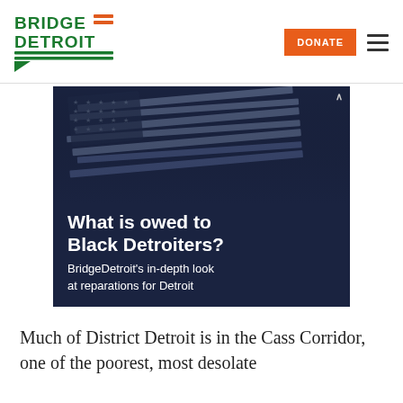[Figure (logo): BridgeDetroit logo with green text and orange/green decorative lines and speech bubble]
[Figure (photo): Advertisement banner with dark navy background showing a distressed American flag illustration. Text reads: 'What is owed to Black Detroiters? BridgeDetroit's in-depth look at reparations for Detroit']
Much of District Detroit is in the Cass Corridor, one of the poorest, most desolate